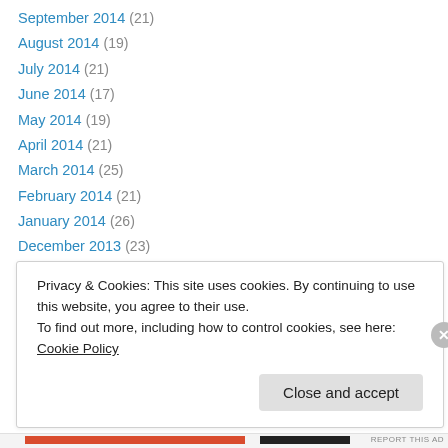September 2014 (21)
August 2014 (19)
July 2014 (21)
June 2014 (17)
May 2014 (19)
April 2014 (21)
March 2014 (25)
February 2014 (21)
January 2014 (26)
December 2013 (23)
November 2013 (20)
October 2013 (21)
September 2013 (24)
Privacy & Cookies: This site uses cookies. By continuing to use this website, you agree to their use. To find out more, including how to control cookies, see here: Cookie Policy